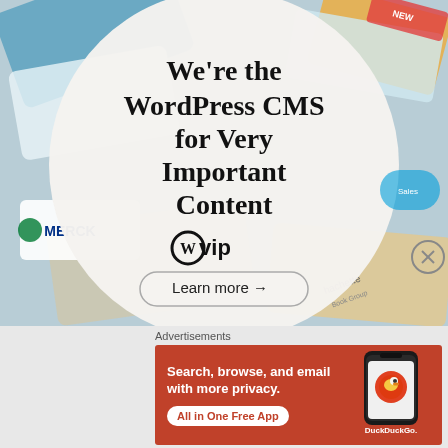[Figure (infographic): WordPress VIP advertisement. A circular white overlay on a colorful background showing brand logos (Merck, Hachette Book Group, etc.) contains the headline 'We're the WordPress CMS for Very Important Content', the WordPress VIP logo, and a 'Learn more →' button.]
Advertisements
[Figure (infographic): DuckDuckGo advertisement on orange/red background. Text: 'Search, browse, and email with more privacy. All in One Free App'. Shows a phone image with DuckDuckGo logo.]